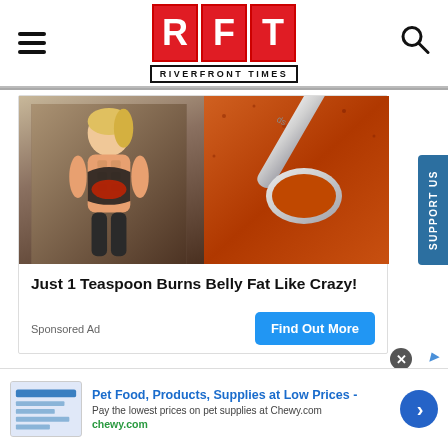[Figure (logo): RFT Riverfront Times logo with red letter blocks R, F, T and tagline RIVERFRONT TIMES below]
[Figure (photo): Advertisement image showing a fit woman with abs on the left and a spoon with spice/powder on the right]
Just 1 Teaspoon Burns Belly Fat Like Crazy!
Sponsored Ad
Find Out More
[Figure (screenshot): Support Us vertical tab on right side]
Pet Food, Products, Supplies at Low Prices -
Pay the lowest prices on pet supplies at Chewy.com
chewy.com